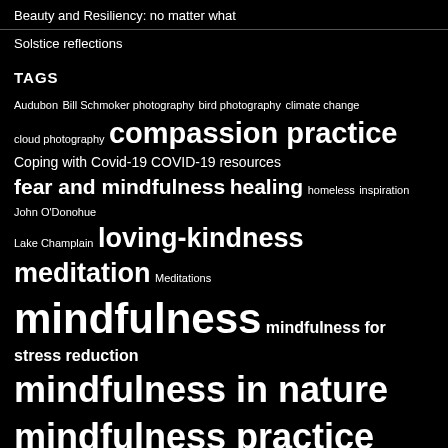Beauty and Resiliency: no matter what
Solstice reflections
TAGS
Audubon Bill Schmoker photography bird photography climate change cloud photography compassion practice Coping with Covid-19 COVID-19 resources fear and mindfulness healing homeless inspiration John O'Donohue Lake Champlain loving-kindness meditation Meditations mindfulness mindfulness for stress reduction mindfulness in nature mindfulness practice Montreal nature mindfulness nature photography New Year's Meditations New Year Wishes pandemic panhandling photography poetry present moment Rachel Naomi Remen Rebecca Solnit Resiliency Santa Claus Seane Corn self-regulation solstice